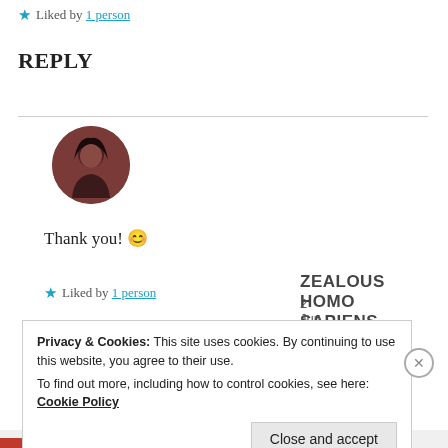★ Liked by 1 person
REPLY
[Figure (photo): Circular avatar photo of a person with dark hair]
ZEALOUS HOMO SAPIENS
2 Jun 2019 at 2:57 pm
Thank you! 😊
★ Liked by 1 person
Privacy & Cookies: This site uses cookies. By continuing to use this website, you agree to their use.
To find out more, including how to control cookies, see here: Cookie Policy
Close and accept